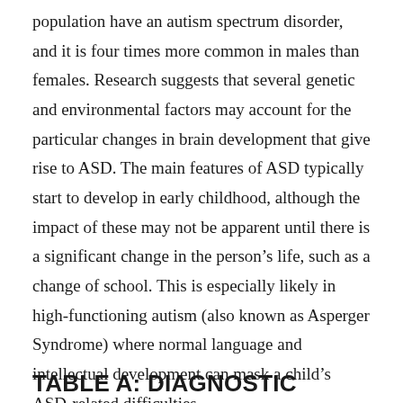population have an autism spectrum disorder, and it is four times more common in males than females. Research suggests that several genetic and environmental factors may account for the particular changes in brain development that give rise to ASD. The main features of ASD typically start to develop in early childhood, although the impact of these may not be apparent until there is a significant change in the person's life, such as a change of school. This is especially likely in high-functioning autism (also known as Asperger Syndrome) where normal language and intellectual development can mask a child's ASD-related difficulties.
TABLE A: DIAGNOSTIC